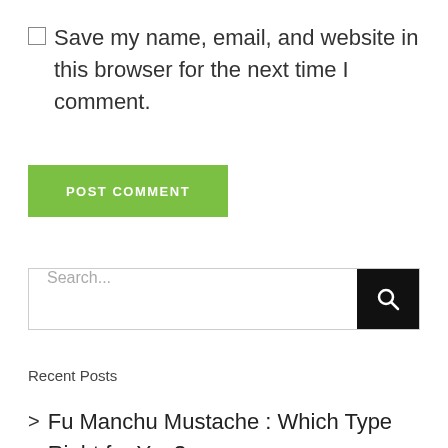☐ Save my name, email, and website in this browser for the next time I comment.
[Figure (other): Green 'POST COMMENT' button]
[Figure (other): Search bar with black search icon button and placeholder text 'Search...']
Recent Posts
> Fu Manchu Mustache : Which Type Right for You?
> Steve Harvey Hair : The Story of The Most